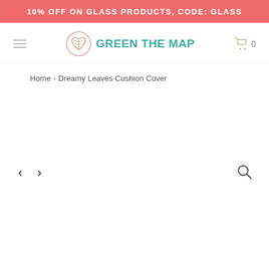10% OFF ON GLASS PRODUCTS, CODE: GLASS
[Figure (logo): Green The Map logo with circular leaf/heart icon and teal text]
Home › Dreamy Leaves Cushion Cover
[Figure (other): Product image area with left/right navigation arrows and zoom/search icon. The product image area appears blank/white.]